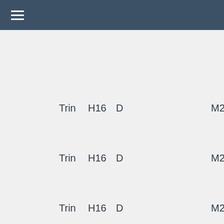≡
| Trin | H16 | D | M2 | Mass / Prope |
| --- | --- | --- | --- | --- |
| Trin | H16 | D |  | M2 | Mass Prope |
| Trin | H16 | D |  | M2 | Mass Prope |
| Trin | H16 | D |  | M2 | Mass Prope |
| Trin | H16 | D |  | M2 | Mass Prope |
| Trin | H16 | D |  | M2 | Mass Prope |
| Trin | H16 | D |  | M2 | Mass |